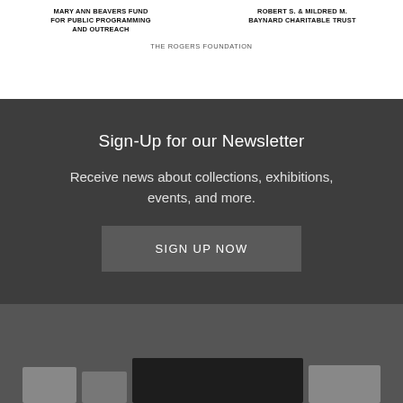MARY ANN BEAVERS FUND FOR PUBLIC PROGRAMMING AND OUTREACH
ROBERT S. & MILDRED M. BAYNARD CHARITABLE TRUST
THE ROGERS FOUNDATION
Sign-Up for our Newsletter
Receive news about collections, exhibitions, events, and more.
SIGN UP NOW
[Figure (photo): Dark background section with thumbnail images at bottom]